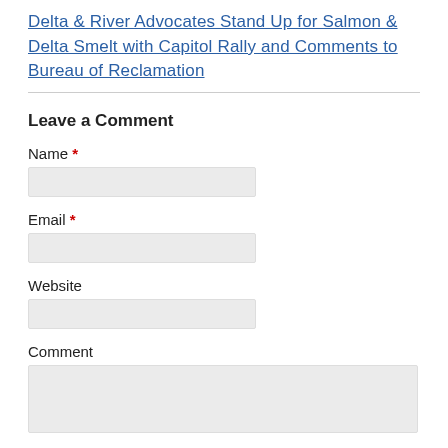Delta & River Advocates Stand Up for Salmon & Delta Smelt with Capitol Rally and Comments to Bureau of Reclamation
Leave a Comment
Name *
Email *
Website
Comment